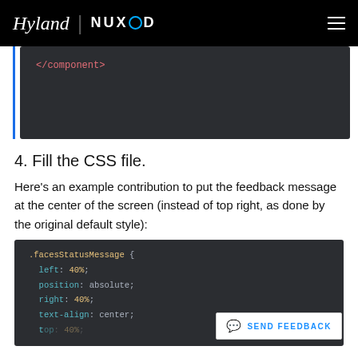Hyland | NUXEO
[Figure (screenshot): Dark code block showing closing XML tag: </component>]
4. Fill the CSS file.
Here's an example contribution to put the feedback message at the center of the screen (instead of top right, as done by the original default style):
[Figure (screenshot): Dark code block showing CSS: .facesStatusMessage { left: 40%; position: absolute; right: 40%; text-align: center; top: 40%; } with a Send Feedback button overlay]